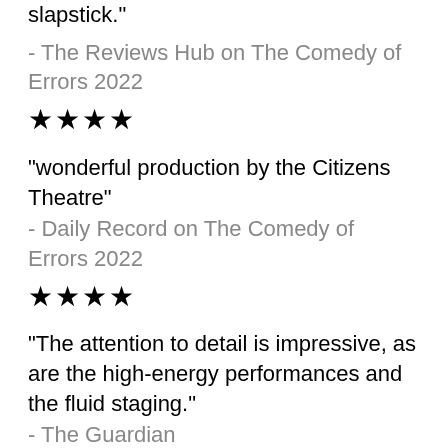slapstick."
- The Reviews Hub on The Comedy of Errors 2022
★★★★
"wonderful production by the Citizens Theatre"
- Daily Record on The Comedy of Errors 2022
★★★★
"The attention to detail is impressive, as are the high-energy performances and the fluid staging."
- The Guardian
"Dominic Hill's fun, breathlessly paced production."
- The Times
"The production twinkles with well-honed slapstick